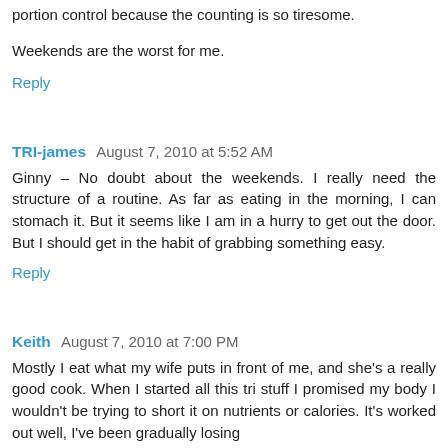portion control because the counting is so tiresome.
Weekends are the worst for me.
Reply
TRI-james  August 7, 2010 at 5:52 AM
Ginny – No doubt about the weekends. I really need the structure of a routine. As far as eating in the morning, I can stomach it. But it seems like I am in a hurry to get out the door. But I should get in the habit of grabbing something easy.
Reply
Keith  August 7, 2010 at 7:00 PM
Mostly I eat what my wife puts in front of me, and she's a really good cook. When I started all this tri stuff I promised my body I wouldn't be trying to short it on nutrients or calories. It's worked out well, I've been gradually losing